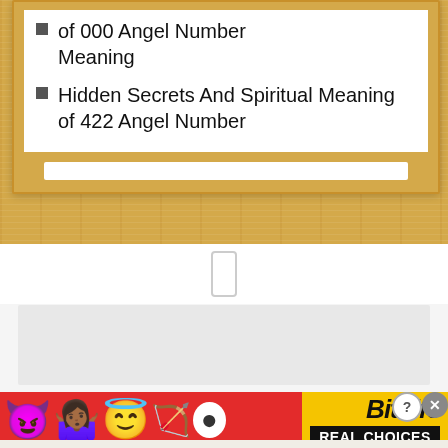of 000 Angel Number Meaning
Hidden Secrets And Spiritual Meaning of 422 Angel Number
[Figure (screenshot): Mobile web page screenshot showing a wooden-background widget with a list of angel number topics. Below is a gray ad placeholder area and a BitLife game advertisement banner at the bottom with emojis and 'REAL CHOICES' text.]